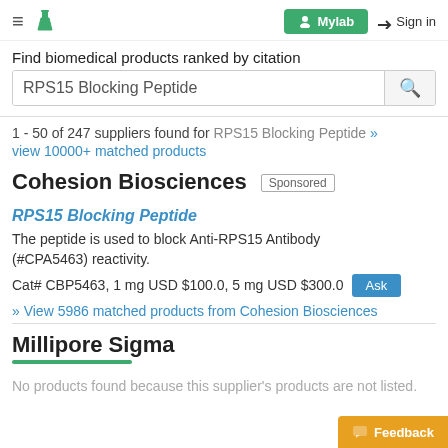≡ 🔬 Mylab Sign in
Find biomedical products ranked by citation
RPS15 Blocking Peptide [search box]
1 - 50 of 247 suppliers found for RPS15 Blocking Peptide » view 10000+ matched products
Cohesion Biosciences Sponsored
RPS15 Blocking Peptide
The peptide is used to block Anti-RPS15 Antibody (#CPA5463) reactivity.
Cat# CBP5463, 1 mg USD $100.0, 5 mg USD $300.0
» View 5986 matched products from Cohesion Biosciences
Millipore Sigma
No products found because this supplier's products are not listed.